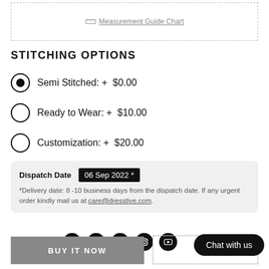[Figure (other): Dashed border box with ruler icon and Measurement Guide Chart link]
STITCHING OPTIONS
Semi Stitched: + $0.00 (selected)
Ready to Wear: + $10.00
Customization: + $20.00
Dispatch Date  06 Sep 2022 *
*Delivery date: 8 -10 business days from the dispatch date. If any urgent order kindly mail us at care@dresstive.com.
SHARE ON
BUY IT NOW
AD...
Chat with us